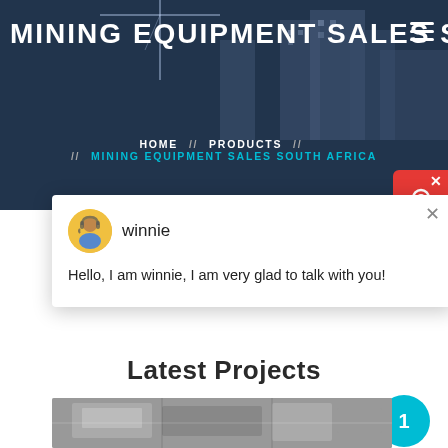MINING EQUIPMENT SALES SOU
HOME // PRODUCTS // MINING EQUIPMENT SALES SOUTH AFRICA
winnie
Hello, I am winnie, I am very glad to talk with you!
Latest Projects
[Figure (photo): Mining/industrial equipment machinery photo]